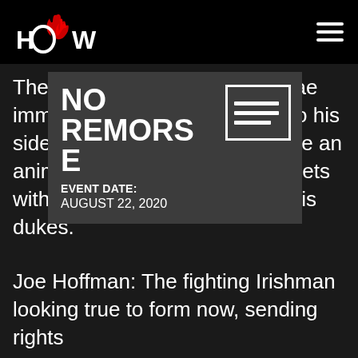HOW — navigation header with logo and hamburger menu
The power [obscured by popup] ICK flying back into a [obscured] immediate [obscured] gigantic arm hanging [obscured] to his sides. Huge [obscured] Canadian Colossus like an animal stalking its prey. As he gets within arms reach, he puts up his dukes.
[Figure (other): Popup card overlay showing event info: NO REMORSE, EVENT DATE: AUGUST 22, 2020, with a document icon in top right]
Joe Hoffman: The fighting Irishman looking true to form now, sending rights